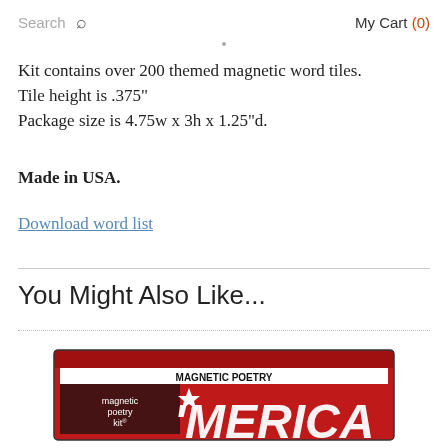Search  My Cart (0)
Kit contains over 200 themed magnetic word tiles.
Tile height is .375"
Package size is 4.75w x 3h x 1.25"d.
Made in USA.
Download word list
You Might Also Like...
[Figure (photo): Product box for Magnetic Poetry Kit 'Merica edition — red box with patriotic design and bold lettering]